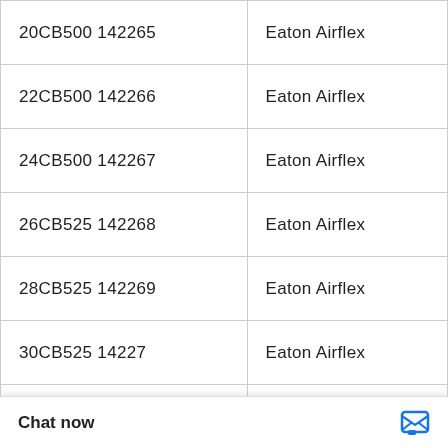| Part Number | Brand |
| --- | --- |
| 20CB500 142265 | Eaton Airflex |
| 22CB500 142266 | Eaton Airflex |
| 24CB500 142267 | Eaton Airflex |
| 26CB525 142268 | Eaton Airflex |
| 28CB525 142269 | Eaton Airflex |
| 30CB525 14227 | Eaton Airflex |
| 32CB525 142271 | Eaton Airflex |
| 36CB525 142272 | Eaton Airflex |
| 38CB525 142273 (partially obscured) | Eaton Airflex |
| 45CB525 142081 | Eaton Airflex |
| (partially visible) | Eaton Airflex |
[Figure (logo): WhatsApp green circle icon with phone handset, labeled WhatsApp Online]
Chat now